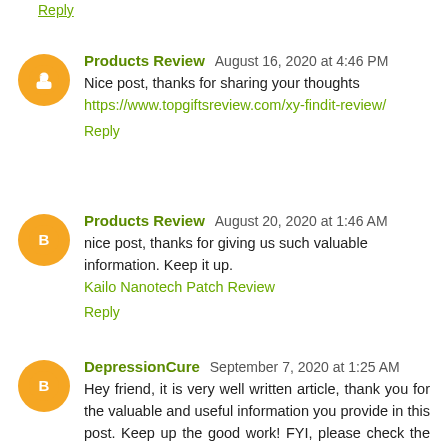Reply
Products Review  August 16, 2020 at 4:46 PM
Nice post, thanks for sharing your thoughts https://www.topgiftsreview.com/xy-findit-review/
Reply
Products Review  August 20, 2020 at 1:46 AM
nice post, thanks for giving us such valuable information. Keep it up.
Kailo Nanotech Patch Review
Reply
DepressionCure  September 7, 2020 at 1:25 AM
Hey friend, it is very well written article, thank you for the valuable and useful information you provide in this post. Keep up the good work! FYI, please check the awesome experience stories ...